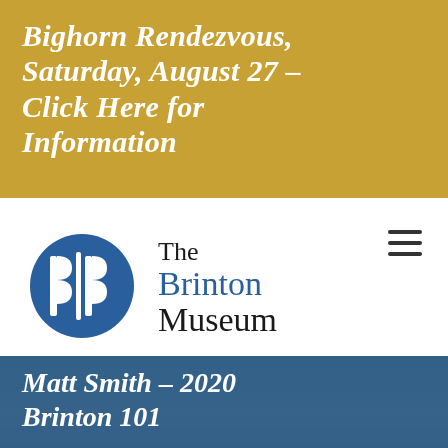Bighorn Rendezvous, Saturday, August 27 – Click Here for Information
[Figure (logo): The Brinton Museum logo: blue circle with stylized double-B monogram, alongside text 'The Brinton Museum']
Matt Smith – 2020 Brinton 101